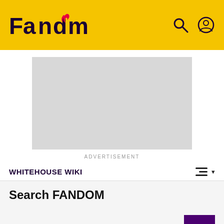Fandom
[Figure (other): Advertisement placeholder box (grey rectangle)]
ADVERTISEMENT
WHITEHOUSE WIKI
Search FANDOM
Search input field with search icon and go arrow button, and ADVANCED option
Articles   Photos and Videos   Blogs   People   Ever▶